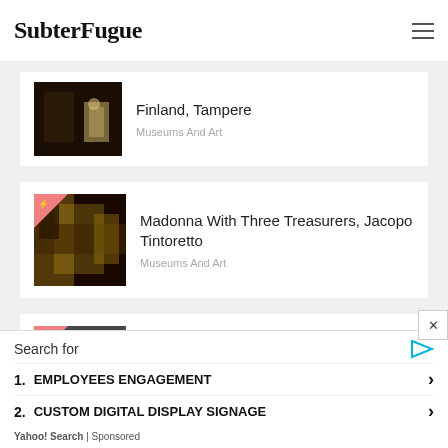SubterFugue
[Figure (screenshot): Partially visible article card showing Finland, Tampere with a dark interior photo]
Finland, Tampere
Museums And Art
[Figure (photo): Article thumbnail for Madonna With Three Treasurers, Jacopo Tintoretto - dark golden painting]
Madonna With Three Treasurers, Jacopo Tintoretto
Museums And Art
[Figure (photo): Article thumbnail for Bone Museum - Ossuary, Czech Republic, Siedlec - grey stone/bone image]
Bone Museum - Ossuary, Czech Republic, Siedlec
Museums And Art
Search for
1. EMPLOYEES ENGAGEMENT
2. CUSTOM DIGITAL DISPLAY SIGNAGE
Yahoo! Search | Sponsored